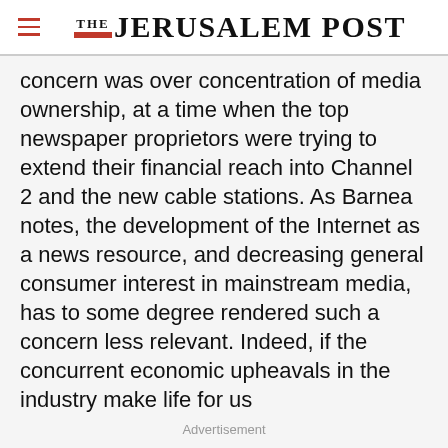THE JERUSALEM POST
concern was over concentration of media ownership, at a time when the top newspaper proprietors were trying to extend their financial reach into Channel 2 and the new cable stations. As Barnea notes, the development of the Internet as a news resource, and decreasing general consumer interest in mainstream media, has to some degree rendered such a concern less relevant. Indeed, if the concurrent economic upheavals in the industry make life for us
Advertisement